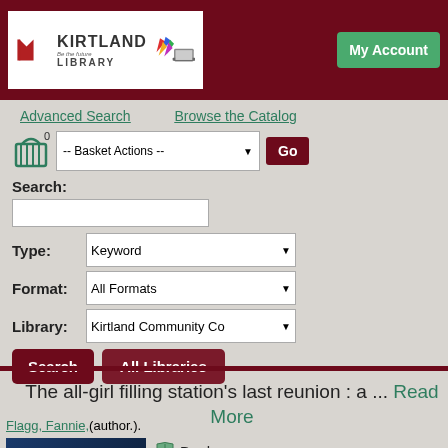[Figure (logo): Kirtland Library logo with colorful books/laptop graphic]
My Account
Advanced Search
Browse the Catalog
Search:
Type: Keyword
Format: All Formats
Library: Kirtland Community Co
Search    All Libraries
The all-girl filling station's last reunion : a ... Read More
Flagg, Fannie,(author.).
Book
Place Hold
[Figure (photo): Book cover for Fannie Flagg novel]